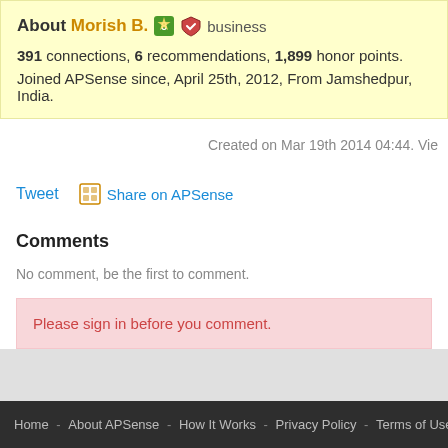About Morish B. 8 [shield icon] business
391 connections, 6 recommendations, 1,899 honor points. Joined APSense since, April 25th, 2012, From Jamshedpur, India.
Created on Mar 19th 2014 04:44. Vie
Tweet   Share on APSense
Comments
No comment, be the first to comment.
Please sign in before you comment.
Home - About APSense - How It Works - Privacy Policy - Terms of Use - Contact Us